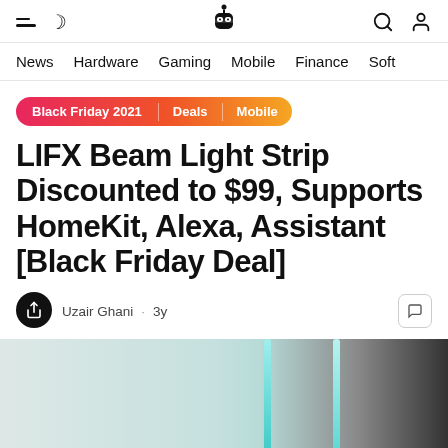Navigation header with hamburger menu, moon icon, logo, search and user icons
News | Hardware | Gaming | Mobile | Finance | Soft
Black Friday 2021 | Deals | Mobile
LIFX Beam Light Strip Discounted to $99, Supports HomeKit, Alexa, Assistant [Black Friday Deal]
Uzair Ghani · 3y
[Figure (photo): Article image showing LIFX Beam light strips on a wall, light teal/cyan colored beams against a light grey background with dark section on the right]